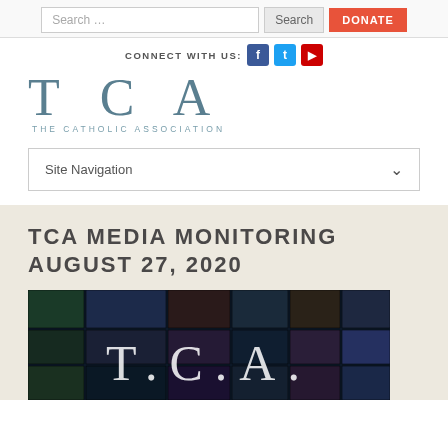[Figure (screenshot): Search bar with Search button and Donate button]
CONNECT WITH US:
[Figure (logo): TCA - The Catholic Association logo]
Site Navigation
TCA MEDIA MONITORING AUGUST 27, 2020
[Figure (photo): TCA media monitoring image showing mosaic of screens with TCA letters]